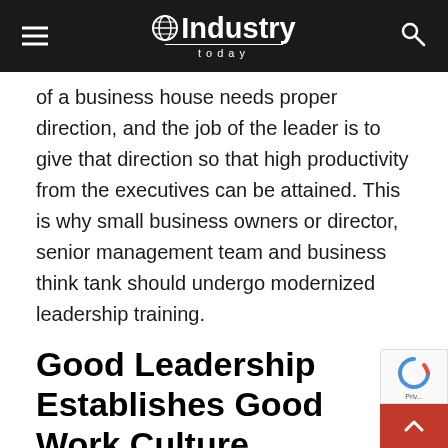Industry Today
of a business house needs proper direction, and the job of the leader is to give that direction so that high productivity from the executives can be attained. This is why small business owners or director, senior management team and business think tank should undergo modernized leadership training.
Good Leadership Establishes Good Work Culture
Work culture is referred to like the ambiance within a business unit. In every successful business unit, work culture has been noted to be healthy. There must be competition among the employees, but it should be a